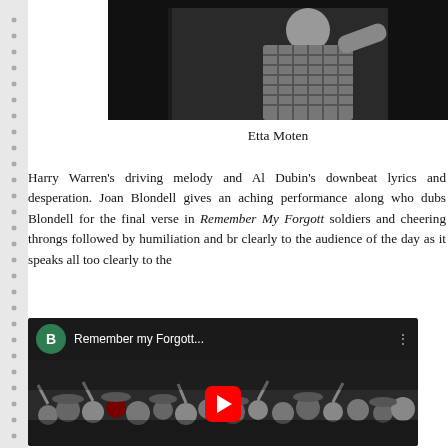[Figure (photo): Black and white photograph of Etta Moten, cropped at top of page, partially visible]
Etta Moten
Harry Warren's driving melody and Al Dubin's downbeat lyrics and desperation. Joan Blondell gives an aching performance along who dubs Blondell for the final verse in Remember My Forgott soldiers and cheering throngs followed by humiliation and br clearly to the audience of the day as it speaks all too clearly to the
[Figure (screenshot): YouTube video embed showing 'Remember my Forgott...' with a crowd scene thumbnail in black and white, red play button, green avatar with letter B]